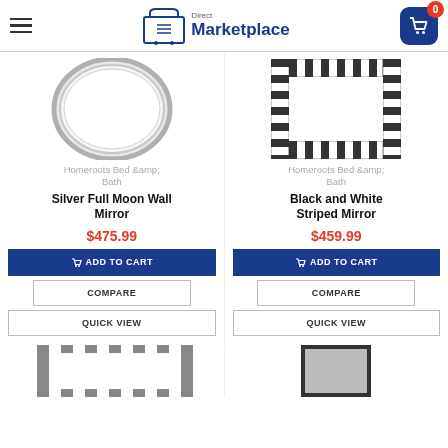Direct Marketplace — navigation header with hamburger menu and cart (0 items)
[Figure (photo): Silver Full Moon Wall Mirror — circular silver-framed mirror product image]
[Figure (photo): Black and White Striped Mirror — square mirror with black and white striped border product image]
Homeroots Bed &amp; Bath
Homeroots Bed &amp; Bath
Silver Full Moon Wall Mirror
Black and White Striped Mirror
$475.99
$459.99
ADD TO CART
ADD TO CART
COMPARE
COMPARE
QUICK VIEW
QUICK VIEW
[Figure (photo): Partial product image bottom left — striped mirror variant]
[Figure (photo): Partial product image bottom right — dark framed mirror or furniture]